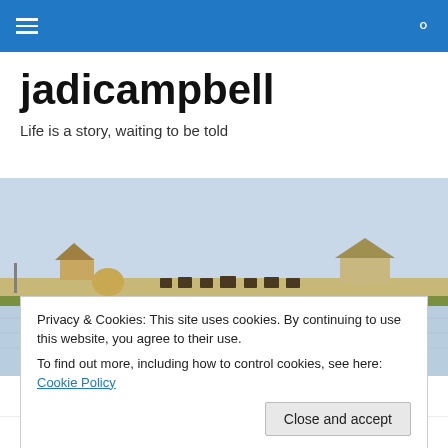jadicampbell — navigation bar with hamburger menu and search icon
jadicampbell
Life is a story, waiting to be told
[Figure (photo): A wide landscape photo showing water buffalo and farm animals walking along a raised earthen path or levee, with water visible below and rustic huts/buildings in the background under a pale blue-grey sky.]
Privacy & Cookies: This site uses cookies. By continuing to use this website, you agree to their use.
To find out more, including how to control cookies, see here: Cookie Policy
Close and accept
PLEASE NOTE: I've moved. You'll find me (and all of